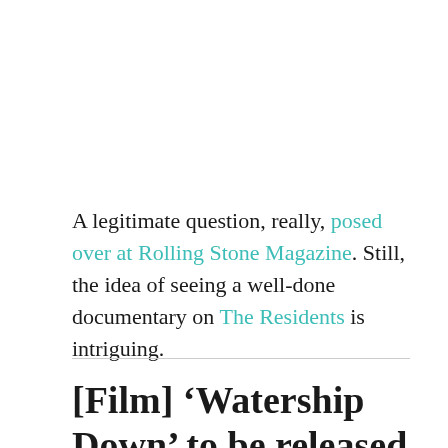A legitimate question, really, posed over at Rolling Stone Magazine. Still, the idea of seeing a well-done documentary on The Residents is intriguing.
[Film] ‘Watership Down’ to be released by The Criterion